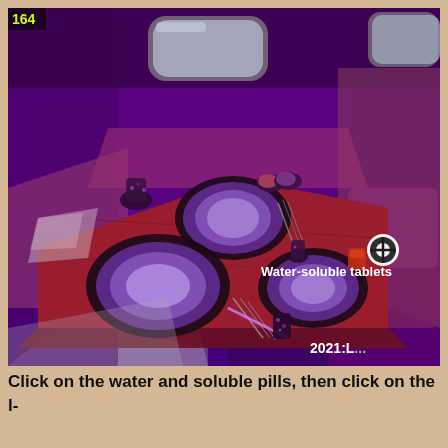[Figure (screenshot): A video game screenshot showing a purple-lit dining area inside what appears to be an aircraft or train. A red/dark wooden table is set with three plates (dark rims, purple-lit centers), cutlery, and decorative candle holders. A label reads 'Water-soluble tablets' with a target reticle icon. The upper-left shows '164' in yellow-green. Lower-right shows '2021:L...' text.]
Click on the water and soluble pills, then click on the l-